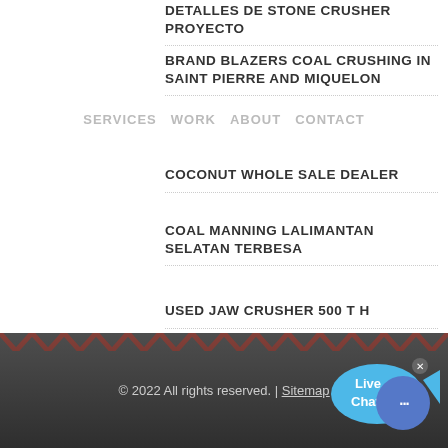SERVICES  WORK  ABOUT  CONTACT
DETALLES DE STONE CRUSHER PROYECTO
BRAND BLAZERS COAL CRUSHING IN SAINT PIERRE AND MIQUELON
COCONUT WHOLE SALE DEALER
COAL MANNING LALIMANTAN SELATAN TERBESA
USED JAW CRUSHER 500 T H
FLOW CHART FOR METALLURGICAL COAL PROCESSING
CONVEYOR BELT PRICE INDIA ONLINE
COLOR:
Orange
Blue
Yellow
© 2022 All rights reserved. | Sitemap